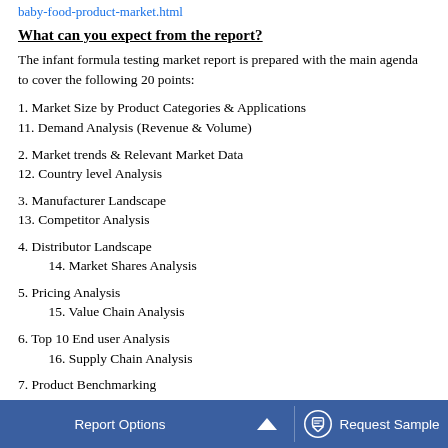https://www.industryarc.com/Report/19628/infant-formula-baby-food-product-market.html
What can you expect from the report?
The infant formula testing market report is prepared with the main agenda to cover the following 20 points:
1. Market Size by Product Categories & Applications
11. Demand Analysis (Revenue & Volume)
2. Market trends & Relevant Market Data
12. Country level Analysis
3. Manufacturer Landscape
13. Competitor Analysis
4. Distributor Landscape
         14. Market Shares Analysis
5. Pricing Analysis
         15. Value Chain Analysis
6. Top 10 End user Analysis
         16. Supply Chain Analysis
7. Product Benchmarking
Report Options   ^   Request Sample